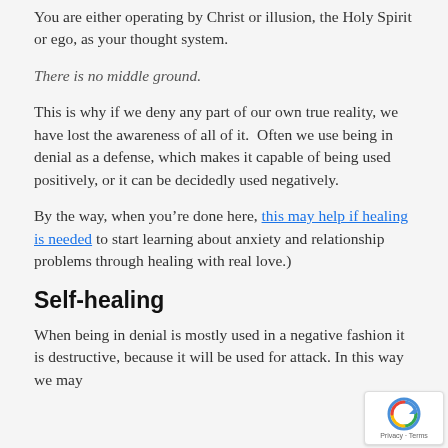You are either operating by Christ or illusion, the Holy Spirit or ego, as your thought system.
There is no middle ground.
This is why if we deny any part of our own true reality, we have lost the awareness of all of it.  Often we use being in denial as a defense, which makes it capable of being used positively, or it can be decidedly used negatively.
By the way, when you’re done here, this may help if healing is needed to start learning about anxiety and relationship problems through healing with real love.)
Self-healing
When being in denial is mostly used in a negative fashion it is destructive, because it will be used for attack. In this way we may...